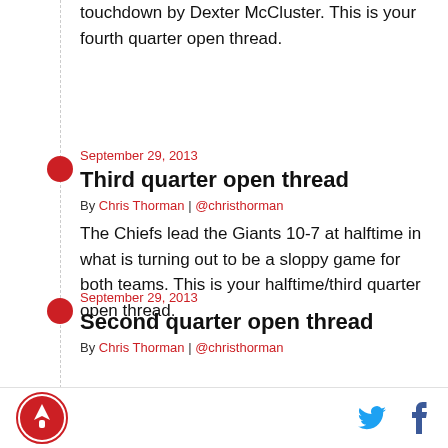touchdown by Dexter McCluster. This is your fourth quarter open thread.
September 29, 2013
Third quarter open thread
By Chris Thorman | @christhorman
The Chiefs lead the Giants 10-7 at halftime in what is turning out to be a sloppy game for both teams. This is your halftime/third quarter open thread.
September 29, 2013
Second quarter open thread
By Chris Thorman | @christhorman